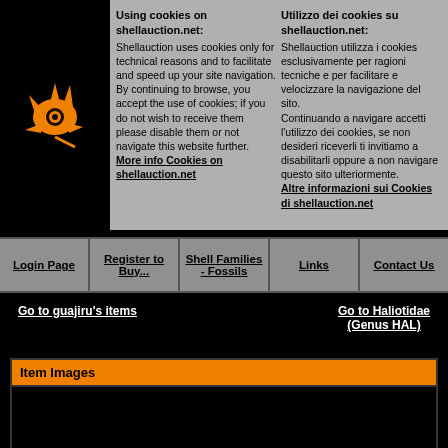[Figure (logo): Orange shell/starfish logo on black background]
Using cookies on shellauction.net: Shellauction uses cookies only for technical reasons and to facilitate and speed up your site navigation. By continuing to browse, you accept the use of cookies; if you do not wish to receive them please disable them or not navigate this website further. More info Cookies on shellauction.net
Utilizzo dei cookies su shellauction.net: Shellauction utilizza i cookies esclusivamente per ragioni tecniche e per facilitare e velocizzare la navigazione del sito. Continuando a navigare accetti l'utilizzo dei cookies, se non desideri riceverli ti invitiamo a disabilitarli oppure a non navigare questo sito ulteriormente. Altre informazioni sui Cookies di shellauction.net
Login Page
Register to Buy...
Shell Families - Fossils
Links
Contact Us
Go to guajiru's items
Go to Haliotidae (Genus HAL)
Item Images
[Figure (photo): Black content area under Item Images header]